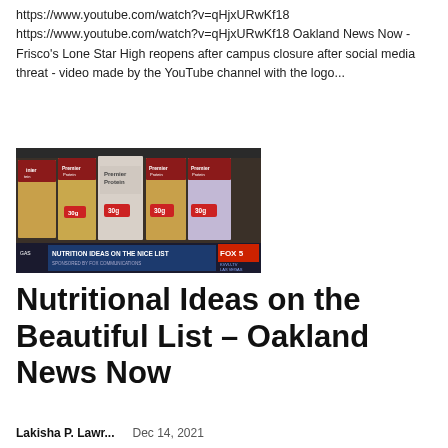https://www.youtube.com/watch?v=qHjxURwKf18
https://www.youtube.com/watch?v=qHjxURwKf18 Oakland News Now - Frisco's Lone Star High reopens after campus closure after social media threat - video made by the YouTube channel with the logo...
[Figure (screenshot): Thumbnail image showing Premier Protein shake cartons in a store, with a TV news lower-third overlay reading 'NUTRITION IDEAS ON THE NICE LIST' and FOX 5 Las Vegas logo.]
Nutritional Ideas on the Beautiful List – Oakland News Now
Lakisha P. Lawr...    Dec 14, 2021